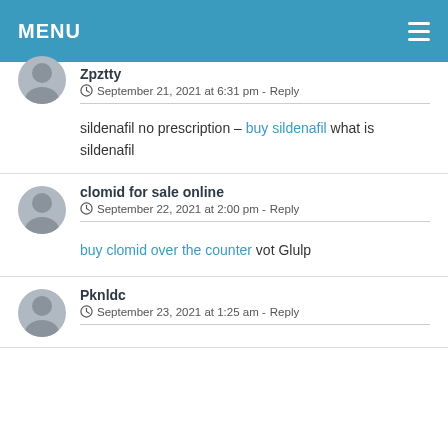MENU
Zpztty
September 21, 2021 at 6:31 pm - Reply
sildenafil no prescription – buy sildenafil what is sildenafil
clomid for sale online
September 22, 2021 at 2:00 pm - Reply
buy clomid over the counter vot Glulp
Pknldc
September 23, 2021 at 1:25 am - Reply